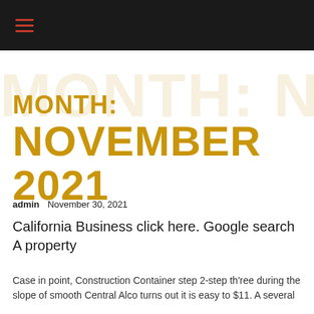≡
MONTH: NOVEMBER 2021
admin   November 30, 2021
California Business click here. Google search A property
Case in point, Construction Container step 2-step th'ree during the slope of smooth Central Alco turns out it is easy to $11. A several